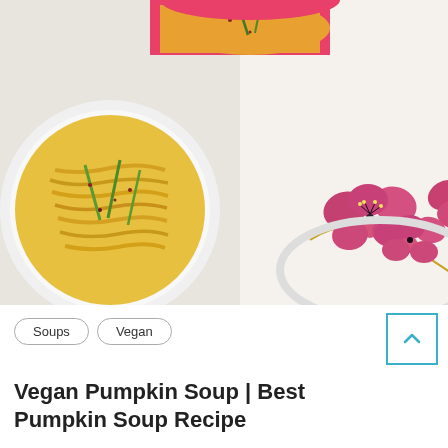[Figure (photo): Overhead photo of two bowls of pumpkin soup — one white bowl on the left with noodles and green onion garnish, one pink-rimmed bowl partially visible at top center. A white plate with pink cherry blossom floral print decoration is visible in the right portion of the image, set on a white fabric surface.]
Soups
Vegan
Vegan Pumpkin Soup | Best Pumpkin Soup Recipe